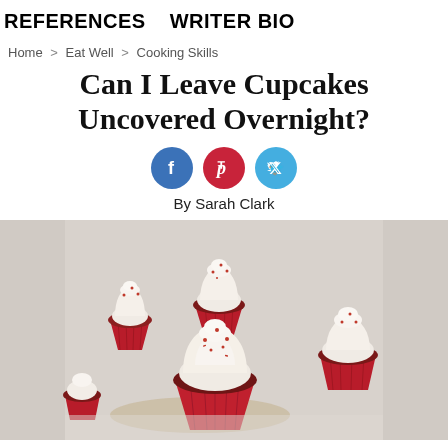REFERENCES   WRITER BIO
Home > Eat Well > Cooking Skills
Can I Leave Cupcakes Uncovered Overnight?
[Figure (infographic): Social media share icons: Facebook (blue circle), Pinterest (red circle), Twitter (light blue circle)]
By Sarah Clark
[Figure (photo): Photo of several red velvet cupcakes in red paper cups with white cream cheese frosting and red sprinkles, arranged on a light background]